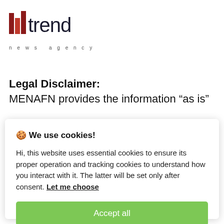[Figure (logo): Trend News Agency logo with red/dark building graphic and 'trend' text in dark letters, with 'news agency' tagline below]
Legal Disclaimer:
MENAFN provides the information “as is”
🍪 We use cookies!

Hi, this website uses essential cookies to ensure its proper operation and tracking cookies to understand how you interact with it. The latter will be set only after consent. Let me choose

Accept all

Reject all